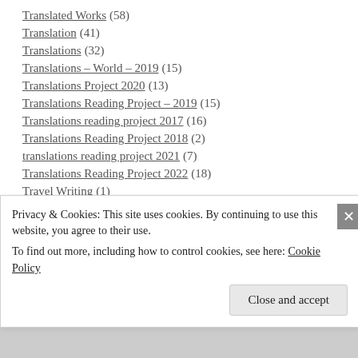Translated Works (58)
Translation (41)
Translations (32)
Translations – World – 2019 (15)
Translations Project 2020 (13)
Translations Reading Project – 2019 (15)
Translations reading project 2017 (16)
Translations Reading Project 2018 (2)
translations reading project 2021 (7)
Translations Reading Project 2022 (18)
Travel Writing (1)
Travelogue (3)
true crime (1)
Privacy & Cookies: This site uses cookies. By continuing to use this website, you agree to their use. To find out more, including how to control cookies, see here: Cookie Policy